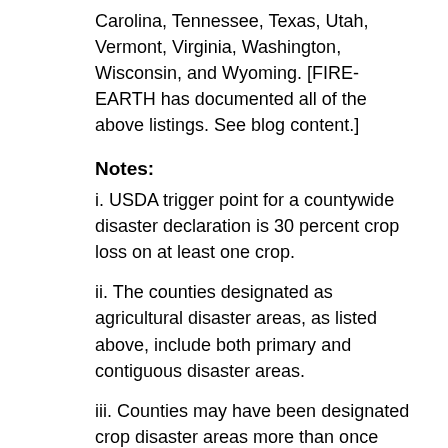Carolina, Tennessee, Texas, Utah, Vermont, Virginia, Washington, Wisconsin, and Wyoming. [FIRE-EARTH has documented all of the above listings. See blog content.]
Notes:
i. USDA trigger point for a countywide disaster declaration is 30 percent crop loss on at least one crop.
ii. The counties designated as agricultural disaster areas, as listed above, include both primary and contiguous disaster areas.
iii. Counties may have been designated crop disaster areas more than once due to multiple disasters.
iv. The U.S. has a total of 3,143 counties and county-equivalents.